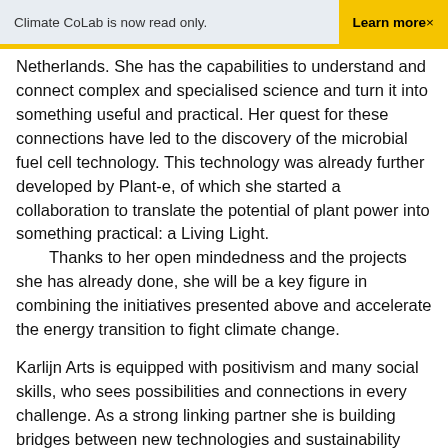Climate CoLab is now read only.   Learn more×
Netherlands. She has the capabilities to understand and connect complex and specialised science and turn it into something useful and practical. Her quest for these connections have led to the discovery of the microbial fuel cell technology. This technology was already further developed by Plant-e, of which she started a collaboration to translate the potential of plant power into something practical: a Living Light.
    Thanks to her open mindedness and the projects she has already done, she will be a key figure in combining the initiatives presented above and accelerate the energy transition to fight climate change.
Karlijn Arts is equipped with positivism and many social skills, who sees possibilities and connections in every challenge. As a strong linking partner she is building bridges between new technologies and sustainability which got her involved in projects for many NGOs. Thanks to these talents she is making sure that the energy transition is getting a solid push and that a